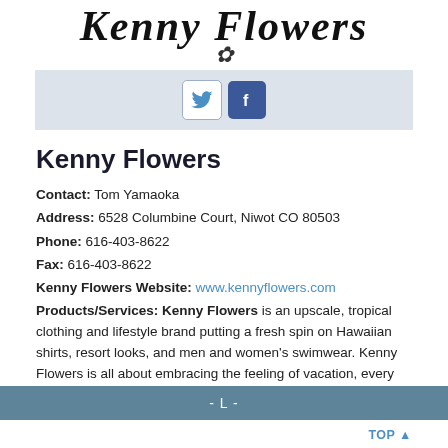[Figure (logo): Kenny Flowers handwritten logo in black script font]
[Figure (infographic): Social media bar with Twitter and Facebook icons on grey background]
Kenny Flowers
Contact: Tom Yamaoka
Address: 6528 Columbine Court, Niwot CO 80503
Phone: 616-403-8622
Fax: 616-403-8622
Kenny Flowers Website: www.kennyflowers.com
Products/Services: Kenny Flowers is an upscale, tropical clothing and lifestyle brand putting a fresh spin on Hawaiian shirts, resort looks, and men and women's swimwear. Kenny Flowers is all about embracing the feeling of vacation, every day.
- L -
TOP